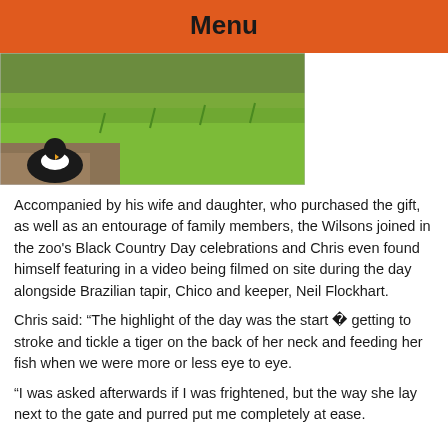Menu
[Figure (photo): Photo of a penguin on grass/dirt area at a zoo]
Accompanied by his wife and daughter, who purchased the gift, as well as an entourage of family members, the Wilsons joined in the zoo's Black Country Day celebrations and Chris even found himself featuring in a video being filmed on site during the day alongside Brazilian tapir, Chico and keeper, Neil Flockhart.
Chris said: “The highlight of the day was the start � getting to stroke and tickle a tiger on the back of her neck and feeding her fish when we were more or less eye to eye.
“I was asked afterwards if I was frightened, but the way she lay next to the gate and purred put me completely at ease.